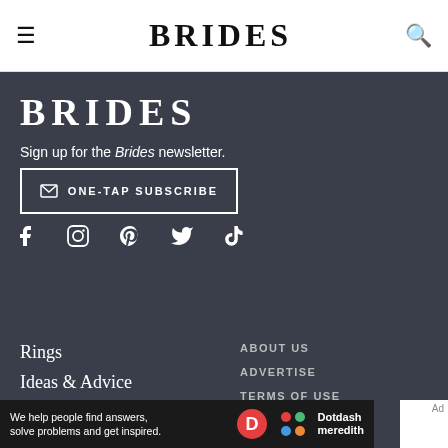≡  BRIDES  🔍
[Figure (logo): BRIDES logo in white serif font on dark background]
Sign up for the Brides newsletter.
✉ ONE-TAP SUBSCRIBE
[Figure (infographic): Social media icons row: Facebook, Instagram, Pinterest, Twitter/X, TikTok]
Rings
Ideas & Advice
Fashion & Beauty
Showers & Events
ABOUT US
ADVERTISE
TERMS OF USE
CAREERS
We help people find answers, solve problems and get inspired. Dotdash meredith
Ad